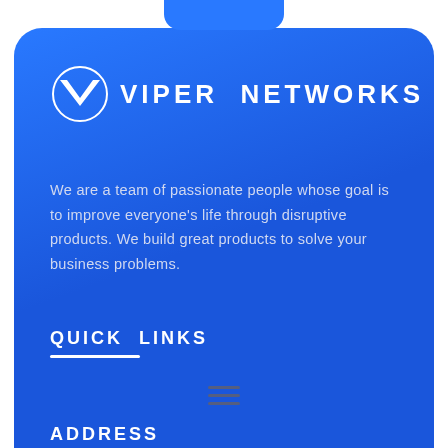[Figure (logo): Viper Networks logo — circular V emblem with circle outline and VIPER NETWORKS text in white on blue background]
We are a team of passionate people whose goal is to improve everyone's life through disruptive products. We build great products to solve your business problems.
QUICK LINKS
ADDRESS